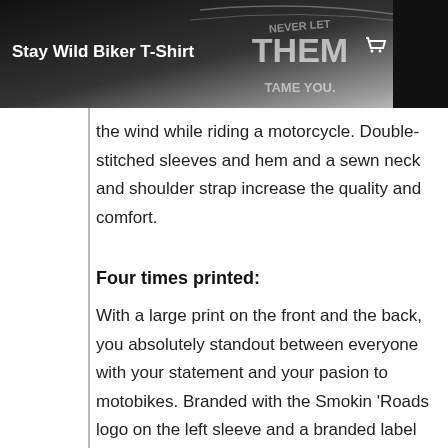Stay Wild Biker T-Shirt
the wind while riding a motorcycle. Double-stitched sleeves and hem and a sewn neck and shoulder strap increase the quality and comfort.
Four times printed:
With a large print on the front and the back, you absolutely standout between everyone with your statement and your pasion to motobikes. Branded with the Smokin 'Roads logo on the left sleeve and a branded label on the inside of this T-shirt, give this product the necessary finishing touches. No doubt, this is the missing link in your biker inventory.